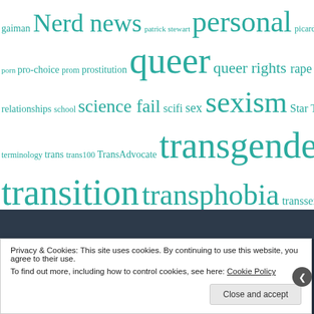[Figure (infographic): Tag cloud of blog topics in teal/green color on white background. Tags include: gaiman, Nerd, news, patrick stewart, personal, picard, politics, porn, pro-choice, prom, prostitution, queer, queer rights, rape, reblog, relationships, school, science fail, scifi, sex, sexism, Star Trek, stealth, teens, terminology, trans, trans100, TransAdvocate, transgender, transition, transphobia, transsexual, violence against, women, visiblity, Wendy Davis, Writing]
MOST VIEWED POSTS
Privacy & Cookies: This site uses cookies. By continuing to use this website, you agree to their use.
To find out more, including how to control cookies, see here: Cookie Policy
Close and accept